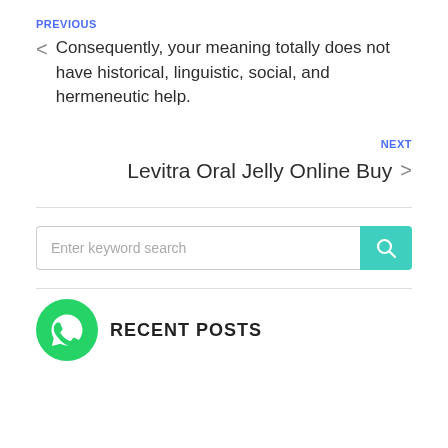PREVIOUS
Consequently, your meaning totally does not have historical, linguistic, social, and hermeneutic help.
NEXT
Levitra Oral Jelly Online Buy
[Figure (other): Search input box with teal search button containing magnifying glass icon]
[Figure (logo): WhatsApp green circular logo icon]
RECENT POSTS